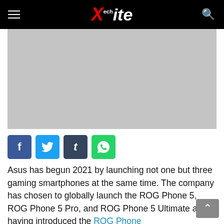TechXite
[Figure (photo): Gray placeholder image for article hero/featured image]
Social share buttons: Facebook, Twitter, Tumblr, WhatsApp
Asus has begun 2021 by launching not one but three gaming smartphones at the same time. The company has chosen to globally launch the ROG Phone 5, ROG Phone 5 Pro, and ROG Phone 5 Ultimate after having introduced the ROG Phone